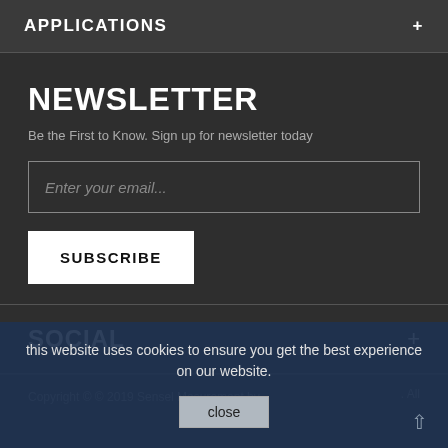APPLICATIONS +
NEWSLETTER
Be the First to Know. Sign up for newsletter today
Enter your email...
SUBSCRIBE
SOCIAL +
Copyright © © 2019 Sensel Mesurement by . All rights reserved.
this website uses cookies to ensure you get the best experience on our website.
close